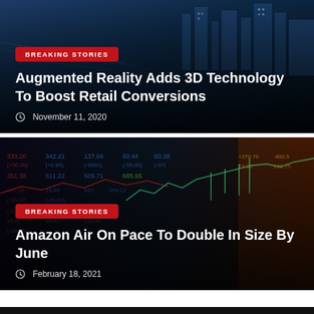[Figure (photo): News card with city/skyscrapers background image. Contains badge, headline and date.]
BREAKING STORIES
Augmented Reality Adds 3D Technology To Boost Retail Conversions
November 11, 2020
[Figure (photo): News card with stock market ticker/chart background image. Contains badge, headline and date.]
BREAKING STORIES
Amazon Air On Pace To Double In Size By June
February 18, 2021